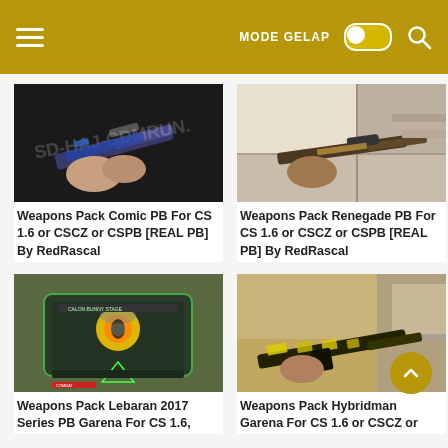☰  MODE GELAP 🔍
[Figure (screenshot): Screenshot of a gaming weapon skin - Comic PB assault rifle with blue pattern held in first-person view, watermark text visible]
Weapons Pack Comic PB For CS 1.6 or CSCZ or CSPB [REAL PB] By RedRascal
[Figure (screenshot): Screenshot of a gaming weapon skin - Renegade PB sniper rifle with golden finish in first-person view inside a building]
Weapons Pack Renegade PB For CS 1.6 or CSCZ or CSPB [REAL PB] By RedRascal
[Figure (screenshot): Screenshot of a gaming weapon - Lebaran 2017 Series PB Garena special edition weapon with futuristic design and explosion animation]
Weapons Pack Lebaran 2017 Series PB Garena For CS 1.6,
[Figure (screenshot): Screenshot of a gaming weapon skin - Hybridman weapon pack with yellow and black pattern AK-style rifle in first-person view]
Weapons Pack Hybridman Garena For CS 1.6 or CSCZ or